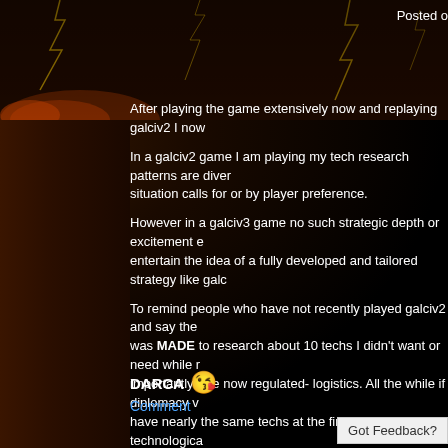Posted o
After playing the game extensively now and replaying galciv2 I now
In a galciv2 game I am playing my tech research patterns are diver situation calls for or by player preference.
However in a galciv3 game no such strategic depth or excitement e entertain the idea of a fully developed and tailored strategy like galc
To remind people who have not recently played galciv2 and say the was MADE to research about 10 techs I didn't want or need while r importantly -the now regulated- logistics. All the while if diplomacy v have nearly the same techs at the first era and end up technologica
In galciv2 I just worked my way to a position I personally liked and c research that tech in a feasible time. I nor anyone else did not need points or not and making choices. Even with planetary invasion bei compared to a balanced empire.
Honestly.
DARCA 😘
Comment
Got Feedback?